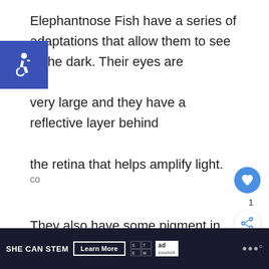Elephantnose Fish have a series of adaptations that allow them to see in the dark. Their eyes are very large and they have a reflective layer behind the retina that helps amplify light. They also have some pigment in their retinas that allows them to see more color in low-light conditions
[Figure (other): Blue square accessibility/wheelchair icon button]
[Figure (other): Blue circular heart/like button with count of 1]
[Figure (other): White circular share button]
SHE CAN STEM  Learn More  [STEM logo] [ad council logo] [dots logo]